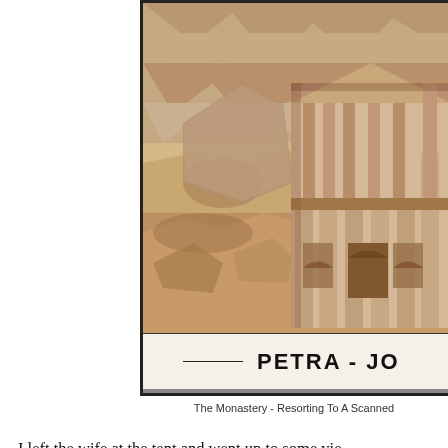[Figure (photo): Aerial or elevated view of the Monastery at Petra, Jordan – a large Nabataean rock-cut temple facade carved into reddish-pink sandstone cliffs. The surrounding rocky mountain landscape is visible. Below the photo is a label bar reading 'PETRA - JO' (text cut off by page edge).]
The Monastery - Resorting To A Scanned (text cut off)
I left the wife at the tent and went up to some vie (cut off) geocache.  I figured it was my last chance to find o (cut off) out on a four foot ledge with a knee shaking drop (cut off)